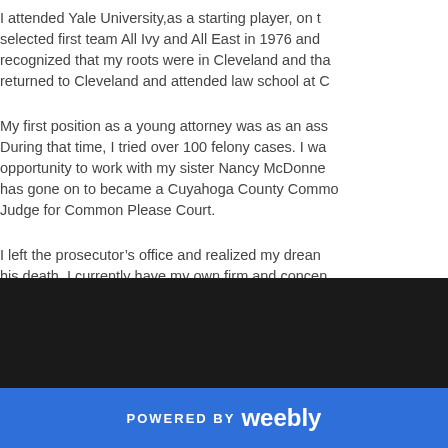I attended Yale University,as a starting player, on the selected first team All Ivy and All East in 1976 and recognized that my roots were in Cleveland and tha returned to Cleveland and attended law school at C
My first position as a young attorney was as an ass During that time, I tried over 100 felony cases. I wa opportunity to work with my sister Nancy McDonne has gone on to became a Cuyahoga County Commo Judge for Common Please Court.
I left the prosecutor's office and realized my dream his death. I currently have my own firm and concer
POWERED BY weebly